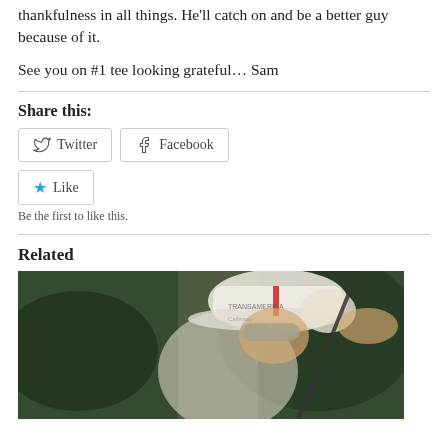thankfulness in all things. He'll catch on and be a better guy because of it.
See you on #1 tee looking grateful… Sam
Share this:
[Figure (other): Twitter and Facebook share buttons]
[Figure (other): Like button with star icon]
Be the first to like this.
Related
[Figure (photo): Golfer in white Transamerica cap and sunglasses mid-swing with a golf club]